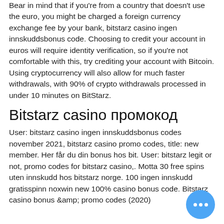Bear in mind that if you're from a country that doesn't use the euro, you might be charged a foreign currency exchange fee by your bank, bitstarz casino ingen innskuddsbonus code. Choosing to credit your account in euros will require identity verification, so if you're not comfortable with this, try crediting your account with Bitcoin. Using cryptocurrency will also allow for much faster withdrawals, with 90% of crypto withdrawals processed in under 10 minutes on BitStarz.
Bitstarz casino промокод
User: bitstarz casino ingen innskuddsbonus codes november 2021, bitstarz casino promo codes, title: new member. Her får du din bonus hos bit. User: bitstarz legit or not, promo codes for bitstarz casino,. Motta 30 free spins uten innskudd hos bitstarz norge. 100 ingen innskudd gratisspinn noxwin new 100% casino bonus code. Bitstarz casino bonus &amp; promo codes (2020)